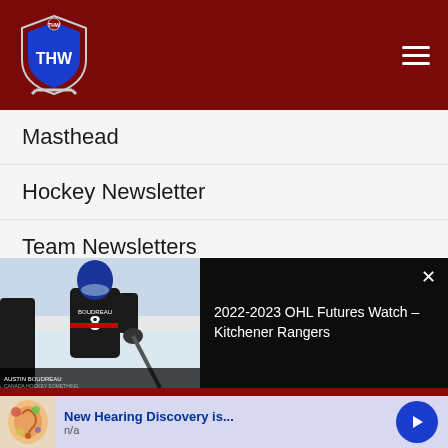THW – The Hockey Writers navigation header
Masthead
Hockey Newsletter
Team Newsletters
RSS Feeds
Privacy Statement
Contact Us
[Figure (screenshot): Video thumbnail showing a hockey player wearing jersey number 8 with name BOUDREAU on an ice rink, alongside video title panel reading '2022-2023 OHL Futures Watch – Kitchener Rangers' on a black background with an X close button]
[Figure (infographic): Advertisement banner for 'New Hearing Discovery is...' with n/a subtitle, featuring an image of an ear/hearing graphic and a blue circular arrow button]